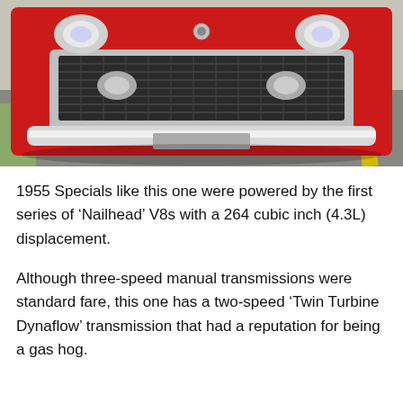[Figure (photo): Front view of a classic red 1955 Buick Special automobile, showing the chrome grille, bumper, and headlights, photographed in a parking lot.]
1955 Specials like this one were powered by the first series of ‘Nailhead’ V8s with a 264 cubic inch (4.3L) displacement.
Although three-speed manual transmissions were standard fare, this one has a two-speed ‘Twin Turbine Dynaflow’ transmission that had a reputation for being a gas hog.